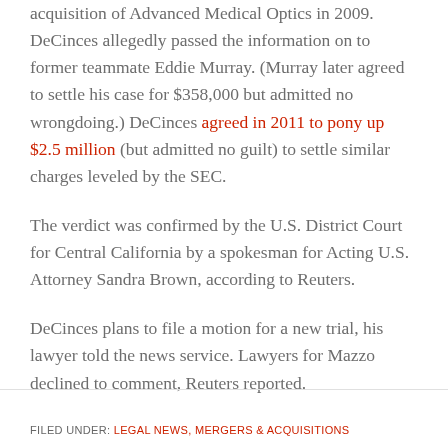acquisition of Advanced Medical Optics in 2009. DeCinces allegedly passed the information on to former teammate Eddie Murray. (Murray later agreed to settle his case for $358,000 but admitted no wrongdoing.) DeCinces agreed in 2011 to pony up $2.5 million (but admitted no guilt) to settle similar charges leveled by the SEC.
The verdict was confirmed by the U.S. District Court for Central California by a spokesman for Acting U.S. Attorney Sandra Brown, according to Reuters.
DeCinces plans to file a motion for a new trial, his lawyer told the news service. Lawyers for Mazzo declined to comment, Reuters reported.
FILED UNDER: LEGAL NEWS, MERGERS & ACQUISITIONS